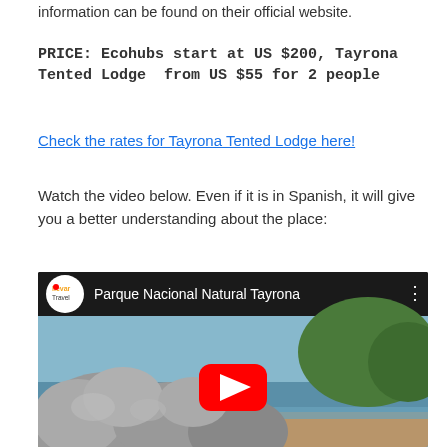information can be found on their official website.
PRICE: Ecohubs start at US $200, Tayrona Tented Lodge  from US $55 for 2 people
Check the rates for Tayrona Tented Lodge here!
Watch the video below. Even if it is in Spanish, it will give you a better understanding about the place:
[Figure (screenshot): YouTube video embed showing 'Parque Nacional Natural Tayrona' from llevar Travel channel, with a beach and rocky coastline thumbnail and a red play button in the center.]